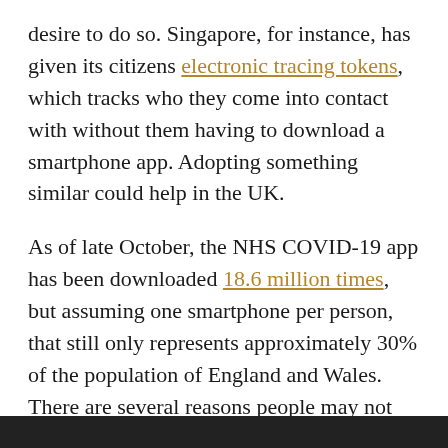desire to do so. Singapore, for instance, has given its citizens electronic tracing tokens, which tracks who they come into contact with without them having to download a smartphone app. Adopting something similar could help in the UK.
As of late October, the NHS COVID-19 app has been downloaded 18.6 million times, but assuming one smartphone per person, that still only represents approximately 30% of the population of England and Wales. There are several reasons people may not have downloaded the app, such as not owning a smartphone or having concerns over data security. Using tracing token has allowed the Singaporean government to get around these personal issues, stopping them from becoming reasons to dismiss risk.